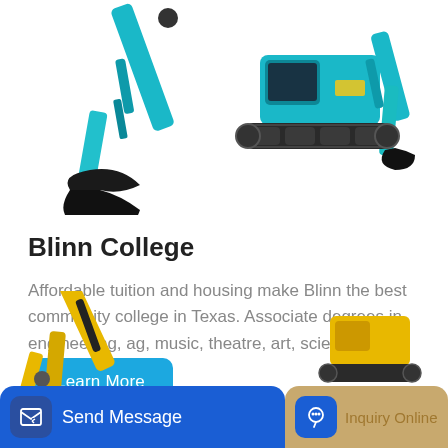[Figure (photo): Two teal/turquoise heavy construction excavators/machinery on white background — one showing the arm/bucket on the left, one showing the full crawler on the right]
Blinn College
Affordable tuition and housing make Blinn the best community college in Texas. Associate degrees in engineering, ag, music, theatre, art, science, and more!
Learn More
[Figure (photo): Yellow heavy construction excavator machinery at the bottom of the page]
Send Message
Inquiry Online